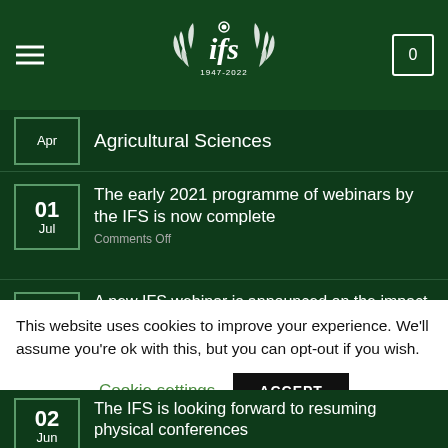IFS 1947-2022
Apr | Agricultural Sciences
01 Jul | The early 2021 programme of webinars by the IFS is now complete | Comments Off
16 Jun | A new IFS webinar is announced on the impact of long term trends affecting the fertiliser industry
02 Jun | The IFS is looking forward to resuming physical conferences
This website uses cookies to improve your experience. We'll assume you're ok with this, but you can opt-out if you wish.
Cookie settings | ACCEPT